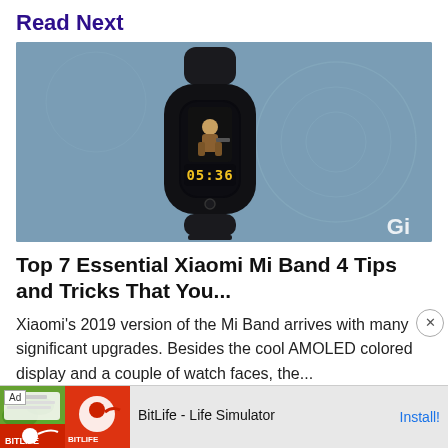Read Next
[Figure (photo): Photo of a Xiaomi Mi Band 4 fitness tracker with a colorful AMOLED display showing 05:36 and a PUBG-themed watch face, placed on a blue-grey surface with circular design patterns. A 'Gi' watermark is visible in the bottom right corner.]
Top 7 Essential Xiaomi Mi Band 4 Tips and Tricks That You...
Xiaomi's 2019 version of the Mi Band arrives with many significant upgrades. Besides the cool AMOLED colored display and a couple of watch faces, the...
[Figure (screenshot): Advertisement bar for BitLife - Life Simulator app showing ad badge, colorful app imagery with green/red graphics and BitLife logo, with Install! call to action link.]